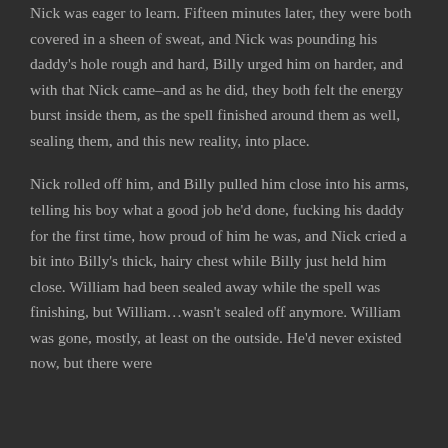Nick was eager to learn. Fifteen minutes later, they were both covered in a sheen of sweat, and Nick was pounding his daddy's hole rough and hard, Billy urged him on harder, and with that Nick came–and as he did, they both felt the energy burst inside them, as the spell finished around them as well, sealing them, and this new reality, into place.
Nick rolled off him, and Billy pulled him close into his arms, telling his boy what a good job he'd done, fucking his daddy for the first time, how proud of him he was, and Nick cried a bit into Billy's thick, hairy chest while Billy just held him close. William had been sealed away while the spell was finishing, but William…wasn't sealed off anymore. William was gone, mostly, at least on the outside. He'd never existed now, but there were